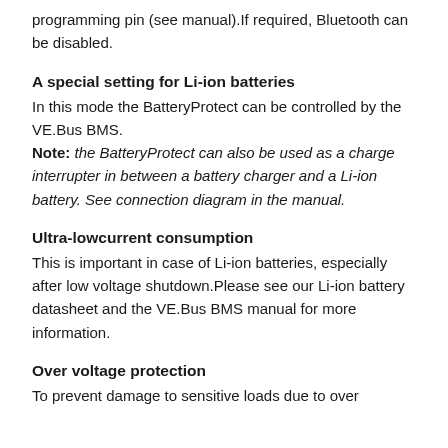programming pin (see manual).If required, Bluetooth can be disabled.
A special setting for Li-ion batteries
In this mode the BatteryProtect can be controlled by the VE.Bus BMS.
Note: the BatteryProtect can also be used as a charge interrupter in between a battery charger and a Li-ion battery. See connection diagram in the manual.
Ultra-lowcurrent consumption
This is important in case of Li-ion batteries, especially after low voltage shutdown.Please see our Li-ion battery datasheet and the VE.Bus BMS manual for more information.
Over voltage protection
To prevent damage to sensitive loads due to over